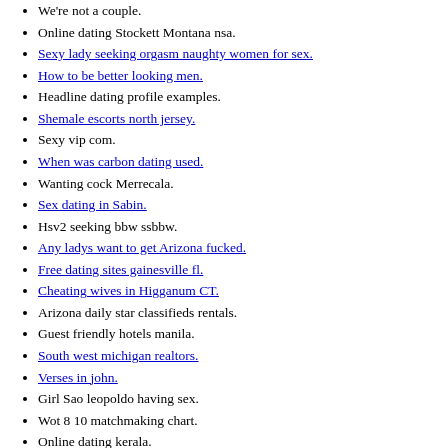We're not a couple.
Online dating Stockett Montana nsa.
Sexy lady seeking orgasm naughty women for sex. [link]
How to be better looking men. [link]
Headline dating profile examples.
Shemale escorts north jersey. [link]
Sexy vip com.
When was carbon dating used. [link]
Wanting cock Merrecala.
Sex dating in Sabin. [link]
Hsv2 seeking bbw ssbbw.
Any ladys want to get Arizona fucked. [link]
Free dating sites gainesville fl. [link]
Cheating wives in Higganum CT. [link]
Arizona daily star classifieds rentals.
Guest friendly hotels manila.
South west michigan realtors. [link]
Verses in john. [link]
Girl Sao leopoldo having sex.
Wot 8 10 matchmaking chart.
Online dating kerala.
How to recognize a controlling man. [link]
South african national tuberculosis settlement. [link]
Massage near old street london.
C...